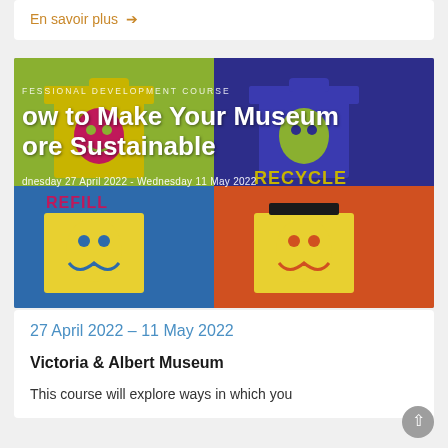En savoir plus →
[Figure (photo): Colorful screen-print poster showing recycling bins (REFILL, RECYCLE) in yellow, magenta, blue, and orange, used as the banner image for the professional development course 'How to Make Your Museum More Sustainable'.]
PROFESSIONAL DEVELOPMENT COURSE – How to Make Your Museum More Sustainable
Wednesday 27 April 2022 - Wednesday 11 May 2022
27 April 2022 – 11 May 2022
Victoria & Albert Museum
This course will explore ways in which you can advance sustainability, whether it is...